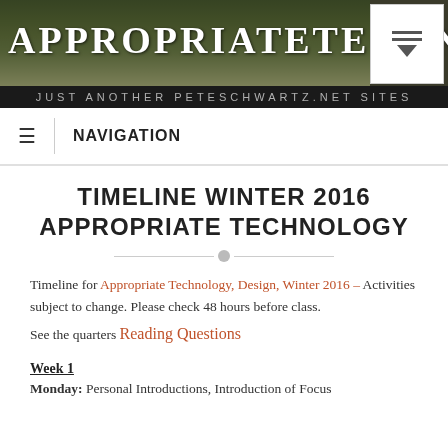APPROPRIATETECH... / JUST ANOTHER PETESCHWARTZ.NET SITES
NAVIGATION
TIMELINE WINTER 2016 APPROPRIATE TECHNOLOGY
Timeline for Appropriate Technology, Design, Winter 2016 – Activities subject to change. Please check 48 hours before class. See the quarters Reading Questions
Week 1
Monday: Personal Introductions, Introduction of Focus